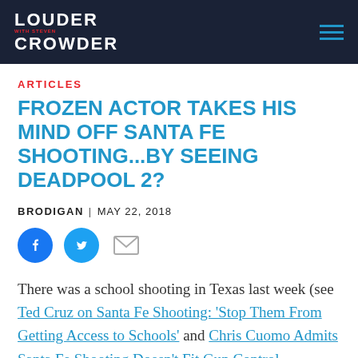LOUDER WITH CROWDER
ARTICLES
FROZEN ACTOR TAKES HIS MIND OFF SANTA FE SHOOTING...BY SEEING DEADPOOL 2?
BRODIGAN | MAY 22, 2018
[Figure (other): Social share icons: Facebook, Twitter, Email]
There was a school shooting in Texas last week (see Ted Cruz on Santa Fe Shooting: ‘Stop Them From Getting Access to Schools’ and Chris Cuomo Admits Santa Fe Shooting Doesn’t Fit Gun Control Narrative). In times of tragedy, everyone decompresses differently. Most people unwound